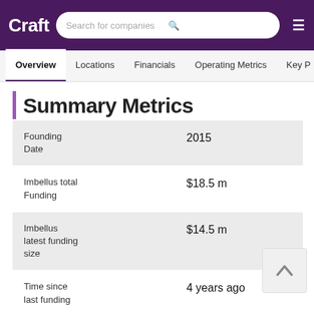Craft — Search for companies
Summary Metrics
| Metric | Value |
| --- | --- |
| Founding Date | 2015 |
| Imbellus total Funding | $18.5 m |
| Imbellus latest funding size | $14.5 m |
| Time since last funding | 4 years ago |
| Imbellus investors | Upfront Ventures, Thrive Capital, GLG, |